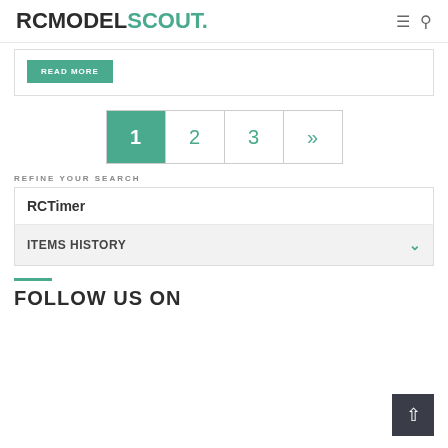RCMODELSCOUT.
READ MORE
1 2 3 »
REFINE YOUR SEARCH
RCTimer
ITEMS HISTORY
FOLLOW US ON